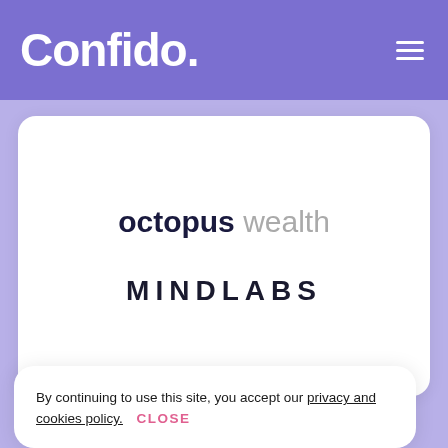Confido.
[Figure (logo): Octopus Wealth logo — 'octopus' in bold dark navy, 'wealth' in light grey weight, sans-serif]
[Figure (logo): MINDLABS logo in uppercase spaced dark navy letters, sans-serif bold]
By continuing to use this site, you accept our privacy and cookies policy. CLOSE